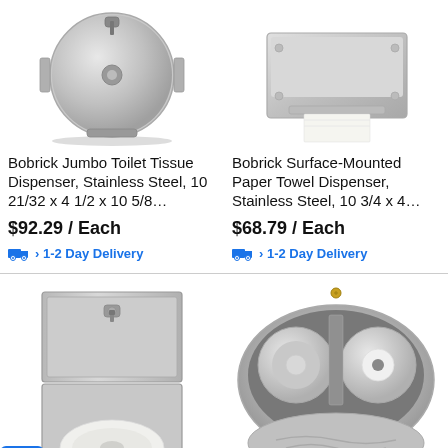[Figure (photo): Bobrick Jumbo Toilet Tissue Dispenser, stainless steel round dispenser]
Bobrick Jumbo Toilet Tissue Dispenser, Stainless Steel, 10 21/32 x 4 1/2 x 10 5/8…
$92.29 / Each
› 1-2 Day Delivery
[Figure (photo): Bobrick Surface-Mounted Paper Towel Dispenser, stainless steel rectangular dispenser]
Bobrick Surface-Mounted Paper Towel Dispenser, Stainless Steel, 10 3/4 x 4…
$68.79 / Each
› 1-2 Day Delivery
[Figure (photo): Stainless steel recessed toilet paper dispenser with lock and toilet paper roll at bottom]
[Figure (photo): Silver dual-roll toilet tissue dispenser, oval/capsule shaped, open showing two rolls inside]